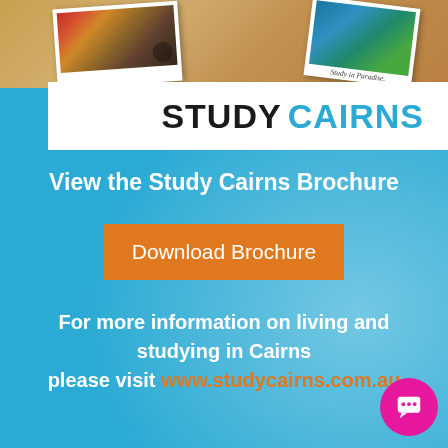[Figure (photo): Top section showing a cork board with two polaroid photos pinned on it, one showing tropical/garden scene, another with 'Study in Paradise' caption. Below is a white bar with the Study Cairns logo.]
View the Study Cairns Brochure
Download Brochure
For more information on living and studying in Cairns please visit www.studycairns.com.au